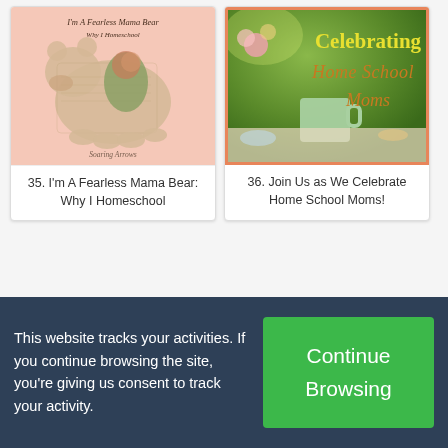[Figure (illustration): Card image for post 35 - I'm A Fearless Mama Bear bear collage illustration on pink background with Soaring Arrows watermark]
35. I'm A Fearless Mama Bear: Why I Homeschool
[Figure (photo): Card image for post 36 - Celebrating Home School Moms text overlay on green garden background with mug and flowers]
36. Join Us as We Celebrate Home School Moms!
This website tracks your activities. If you continue browsing the site, you're giving us consent to track your activity.
Continue Browsing